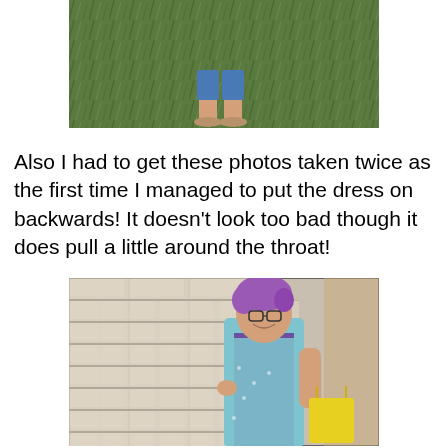[Figure (photo): Partial photo showing feet/legs standing on grass, cropped at the top of the page]
Also I had to get these photos taken twice as the first time I managed to put the dress on backwards! It doesn't look too bad though it does pull a little around the throat!
[Figure (photo): Woman with purple hair and glasses wearing a teal patterned dress over a purple top, standing in front of a brick wall, smiling, holding a yellow bag]